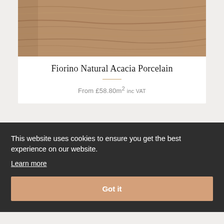[Figure (photo): Close-up photo of wood-grain texture flooring tile in warm brown tones]
Fiorino Natural Acacia Porcelain
From £58.80m² inc VAT
This website uses cookies to ensure you get the best experience on our website.
Learn more
Got it